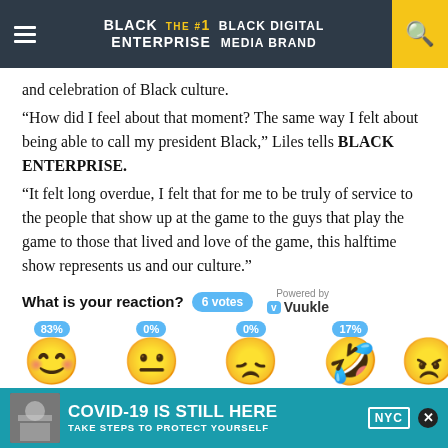BLACK ENTERPRISE THE #1 BLACK DIGITAL MEDIA BRAND
and celebration of Black culture.
“How did I feel about that moment? The same way I felt about being able to call my president Black,” Liles tells BLACK ENTERPRISE.
“It felt long overdue, I felt that for me to be truly of service to the people that show up at the game to the guys that play the game to those that lived and love of the game, this halftime show represents us and our culture.”
What is your reaction? 6 votes Powered by Vuukle
[Figure (infographic): Emoji reaction poll with 4 emojis showing percentages: 83%, 0%, 0%, 17%]
COVID-19 IS STILL HERE TAKE STEPS TO PROTECT YOURSELF NYC